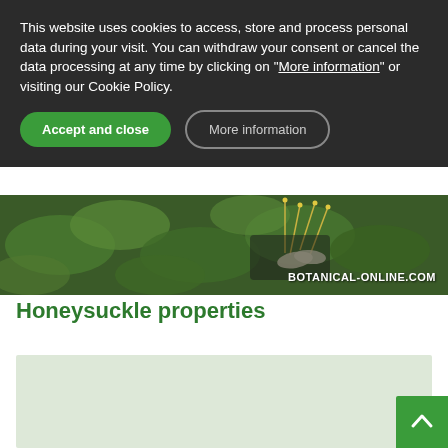This website uses cookies to access, store and process personal data during your visit. You can withdraw your consent or cancel the data processing at any time by clicking on "More information" or visiting our Cookie Policy.
Accept and close
More information
[Figure (photo): Header banner image showing honeysuckle plant with green leaves and flowers, with BOTANICAL-ONLINE.COM watermark]
Honeysuckle properties
[Figure (other): Light green placeholder content area]